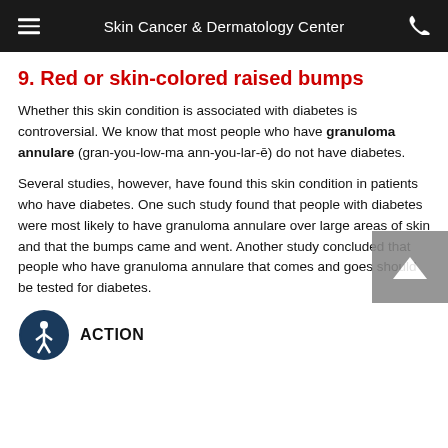Skin Cancer & Dermatology Center
9. Red or skin-colored raised bumps
Whether this skin condition is associated with diabetes is controversial. We know that most people who have granuloma annulare (gran-you-low-ma ann-you-lar-ē) do not have diabetes.
Several studies, however, have found this skin condition in patients who have diabetes. One such study found that people with diabetes were most likely to have granuloma annulare over large areas of skin and that the bumps came and went. Another study concluded that people who have granuloma annulare that comes and goes should be tested for diabetes.
[Figure (illustration): Accessibility icon (person in circle) followed by ACTION label]
ACTION